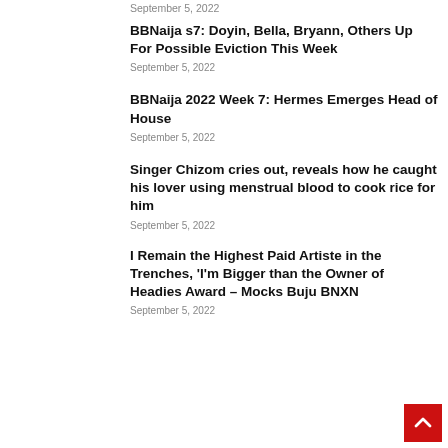September 5, 2022
BBNaija s7: Doyin, Bella, Bryann, Others Up For Possible Eviction This Week
September 5, 2022
BBNaija 2022 Week 7: Hermes Emerges Head of House
September 5, 2022
Singer Chizom cries out, reveals how he caught his lover using menstrual blood to cook rice for him
September 5, 2022
I Remain the Highest Paid Artiste in the Trenches, 'I'm Bigger than the Owner of Headies Award – Mocks Buju BNXN
September 5, 2022